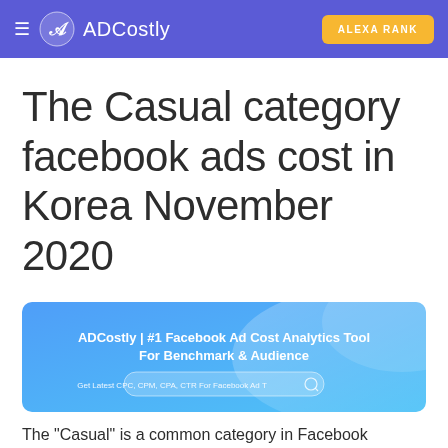≡  ADCostly   ALEXA RANK
The Casual category facebook ads cost in Korea November 2020
[Figure (screenshot): ADCostly banner: '#1 Facebook Ad Cost Analytics Tool For Benchmark & Audience' with a search bar reading 'Get Latest CPC, CPM, CPA, CTR For Facebook Ad T' on a blue gradient background]
The "Casual" is a common category in Facebook